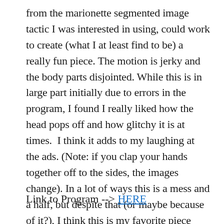from the marionette segmented image tactic I was interested in using, could work to create (what I at least find to be) a really fun piece. The motion is jerky and the body parts disjointed. While this is in large part initially due to errors in the program, I found I really liked how the head pops off and how glitchy it is at times.  I think it adds to my laughing at the ads. (Note: if you clap your hands together off to the sides, the images change). In a lot of ways this is a mess and a half, but despite that (or maybe because of it?), I think this is my favorite piece thus far.
Link to Program --> HERE